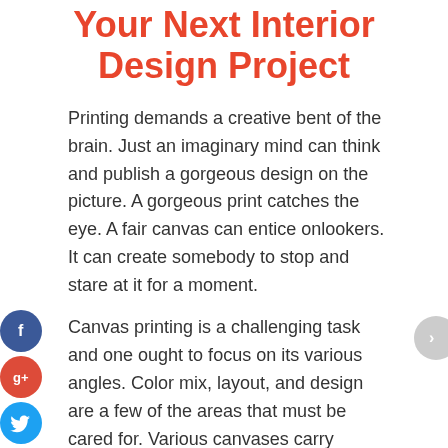Your Next Interior Design Project
Printing demands a creative bent of the brain. Just an imaginary mind can think and publish a gorgeous design on the picture. A gorgeous print catches the eye. A fair canvas can entice onlookers. It can create somebody to stop and stare at it for a moment.
Canvas printing is a challenging task and one ought to focus on its various angles. Color mix, layout, and design are a few of the areas that must be cared for. Various canvases carry various symbols and meanings. A creative mind can simply comprehend that significance. If you want to buy abstract paintings then you can search over the internet.